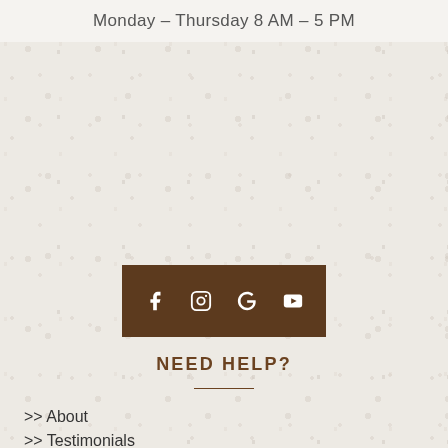Monday – Thursday 8 AM – 5 PM
[Figure (infographic): Social media icon bar with brown background containing Facebook, Instagram, Google, and YouTube icons in white]
NEED HELP?
>> About
>> Testimonials